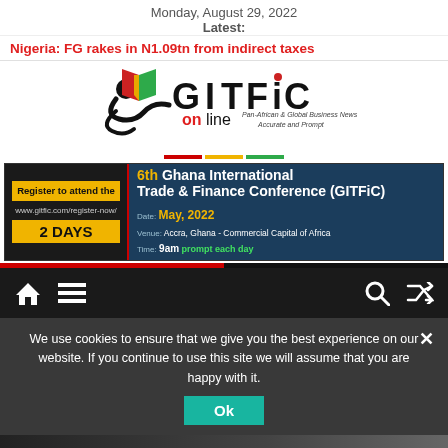Monday, August 29, 2022
Latest:
Nigeria: FG rakes in N1.09tn from indirect taxes
[Figure (logo): GITFiC Online logo - Pan-African & Global Business News, Accurate and Prompt]
[Figure (infographic): Banner ad: Register to attend the 6th Ghana International Trade & Finance Conference (GITFiC). www.gitfic.com/register-now/ 2 DAYS. Date: May, 2022. Venue: Accra, Ghana - Commercial Capital of Africa. Time: 9am prompt each day.]
[Figure (infographic): Navigation bar with home icon, menu icon, search icon, and shuffle icon on dark background]
We use cookies to ensure that we give you the best experience on our website. If you continue to use this site we will assume that you are happy with it.
[Figure (other): Ok button - teal/green color]